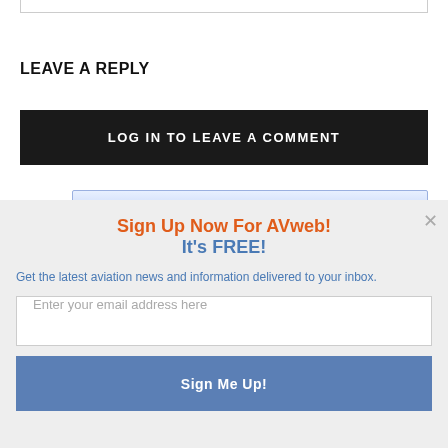LEAVE A REPLY
LOG IN TO LEAVE A COMMENT
Sign Up Now For AVweb!
It's FREE!
Get the latest aviation news and information delivered to your inbox.
Enter your email address here
Sign Me Up!